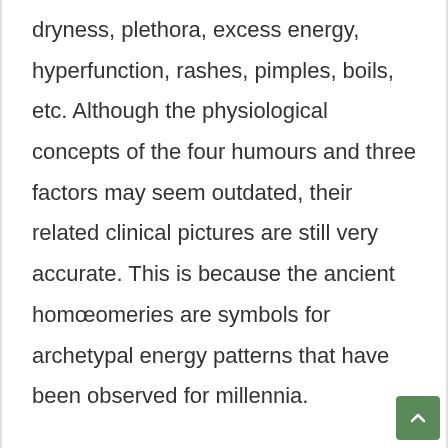dryness, plethora, excess energy, hyperfunction, rashes, pimples, boils, etc. Although the physiological concepts of the four humours and three factors may seem outdated, their related clinical pictures are still very accurate. This is because the ancient homœomeries are symbols for archetypal energy patterns that have been observed for millennia.

The genes of the paternal and maternal